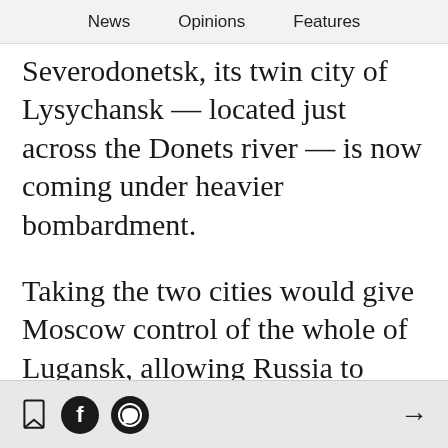News  Opinions  Features
Severodonetsk, its twin city of Lysychansk — located just across the Donets river — is now coming under heavier bombardment.
Taking the two cities would give Moscow control of the whole of Lugansk, allowing Russia to press further into Donbas.
[bookmark icon] [facebook icon] [whatsapp icon] →